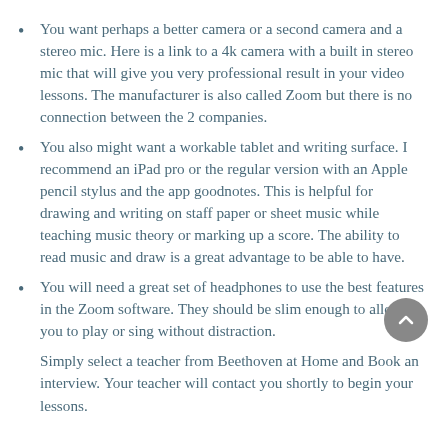You want perhaps a better camera or a second camera and a stereo mic. Here is a link to a 4k camera with a built in stereo mic that will give you very professional result in your video lessons. The manufacturer is also called Zoom but there is no connection between the 2 companies.
You also might want a workable tablet and writing surface. I recommend an iPad pro or the regular version with an Apple pencil stylus and the app goodnotes. This is helpful for drawing and writing on staff paper or sheet music while teaching music theory or marking up a score. The ability to read music and draw is a great advantage to be able to have.
You will need a great set of headphones to use the best features in the Zoom software. They should be slim enough to allow you to play or sing without distraction.
Simply select a teacher from Beethoven at Home and Book an interview. Your teacher will contact you shortly to begin your lessons.